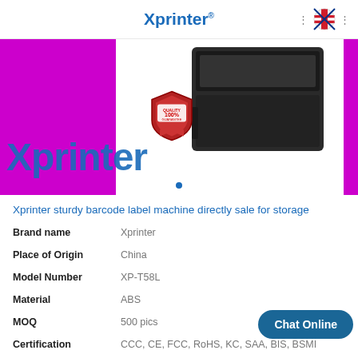Xprinter
[Figure (photo): Xprinter branded product image showing a barcode label printer, with Xprinter logo text in blue on a magenta/white banner background, quality 100% badge overlay, and a navigation dot indicator.]
Xprinter sturdy barcode label machine directly sale for storage
| Attribute | Value |
| --- | --- |
| Brand name | Xprinter |
| Place of Origin | China |
| Model Number | XP-T58L |
| Material | ABS |
| MOQ | 500 pics |
| Certification | CCC, CE, FCC, RoHS, KC, SAA, BIS, BSMI |